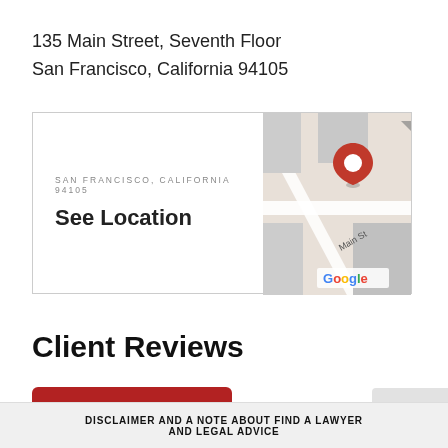135 Main Street, Seventh Floor
San Francisco, California 94105
[Figure (map): Google Maps thumbnail showing Main St in San Francisco with a red location pin marker and Google logo]
Client Reviews
Write a Review
DISCLAIMER AND A NOTE ABOUT FIND A LAWYER AND LEGAL ADVICE